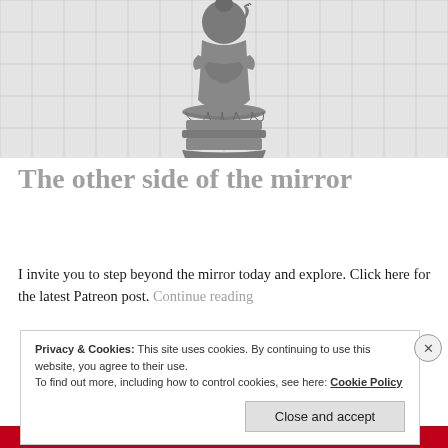[Figure (photo): A black-and-white Buddha statue seated on a lotus pedestal, displayed against a jigsaw puzzle background pattern in light grey tones.]
The other side of the mirror
I invite you to step beyond the mirror today and explore. Click here for the latest Patreon post. Continue reading
Privacy & Cookies: This site uses cookies. By continuing to use this website, you agree to their use. To find out more, including how to control cookies, see here: Cookie Policy
Close and accept